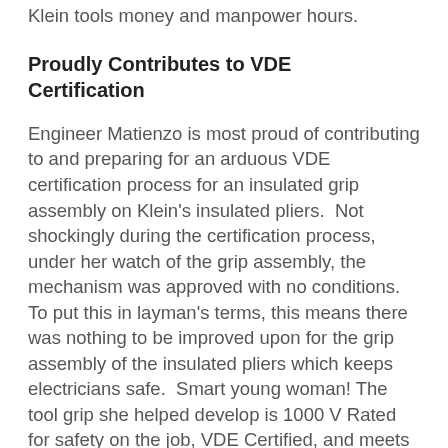Klein tools money and manpower hours.
Proudly Contributes to VDE Certification
Engineer Matienzo is most proud of contributing to and preparing for an arduous VDE certification process for an insulated grip assembly on Klein’s insulated pliers.  Not shockingly during the certification process, under her watch of the grip assembly, the mechanism was approved with no conditions.  To put this in layman’s terms, this means there was nothing to be improved upon for the grip assembly of the insulated pliers which keeps electricians safe.  Smart young woman!  The tool grip she helped develop is 1000 V Rated for safety on the job, VDE Certified, and meets or exceeds ASTM F1505 and IEC 60900 standards for insulated tools.